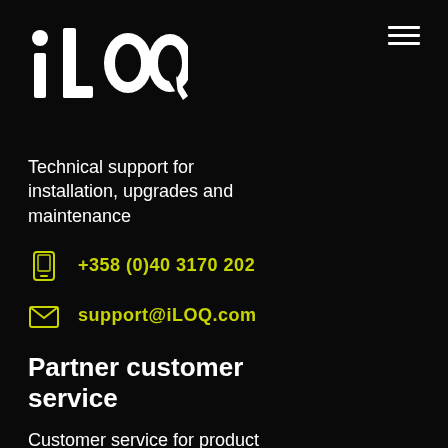[Figure (logo): iLOQ logo in white on black background]
[Figure (other): Hamburger menu icon (three horizontal white lines)]
Technical support for installation, upgrades and maintenance
+358 (0)40 3170 202
support@iLOQ.com
Partner customer service
Customer service for product & licence orders, billing and Partner Portal
+358 (0)40 3170 205